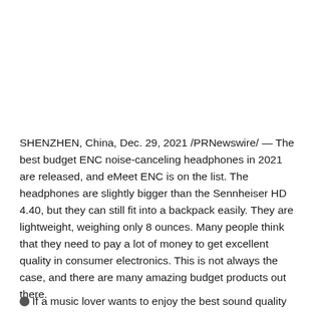SHENZHEN, China, Dec. 29, 2021 /PRNewswire/ — The best budget ENC noise-canceling headphones in 2021 are released, and eMeet ENC is on the list. The headphones are slightly bigger than the Sennheiser HD 4.40, but they can still fit into a backpack easily. They are lightweight, weighing only 8 ounces. Many people think that they need to pay a lot of money to get excellent quality in consumer electronics. This is not always the case, and there are many amazing budget products out there.
If a music lover wants to enjoy the best sound quality with